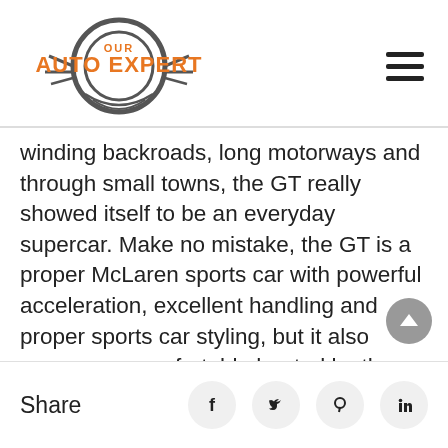[Figure (logo): Our Auto Expert logo with circular gear/wheel graphic and orange bold text 'AUTO EXPERT' with smaller 'OUR' above]
winding backroads, long motorways and through small towns, the GT really showed itself to be an everyday supercar. Make no mistake, the GT is a proper McLaren sports car with powerful acceleration, excellent handling and proper sports car styling, but it also possesses comfortable heated leather seats, adjustable suspension, room
Share